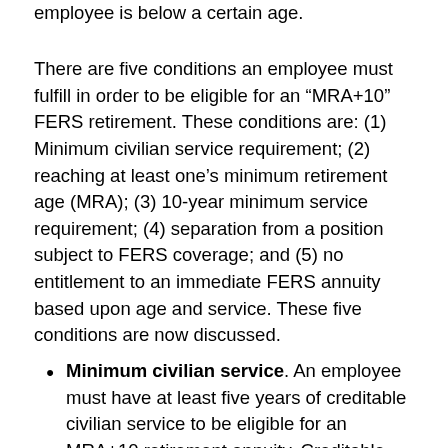employee is below a certain age.
There are five conditions an employee must fulfill in order to be eligible for an “MRA+10” FERS retirement. These conditions are: (1) Minimum civilian service requirement; (2) reaching at least one’s minimum retirement age (MRA); (3) 10-year minimum service requirement; (4) separation from a position subject to FERS coverage; and (5) no entitlement to an immediate FERS annuity based upon age and service. These five conditions are now discussed.
Minimum civilian service. An employee must have at least five years of creditable civilian service to be eligible for an MRA+10 retirement annuity. Creditable